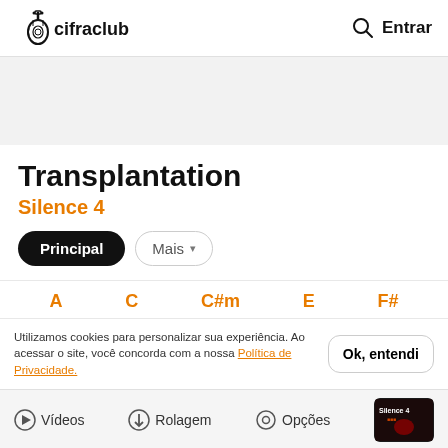cifraclub — Entrar
[Figure (other): Gray banner/advertisement placeholder area]
Transplantation
Silence 4
Principal | Mais
A  C  C#m  E  F#
Utilizamos cookies para personalizar sua experiência. Ao acessar o site, você concorda com a nossa Política de Privacidade.
Ok, entendi
Vídeos  Rolagem  Opções
Play Transplantation